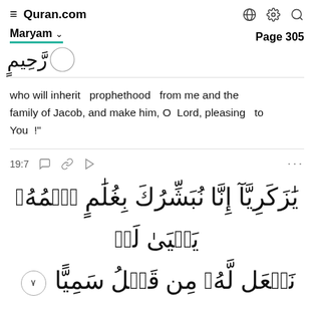≡ Quran.com
Maryam   Page 305
who will inherit   prophethood   from me and the family of Jacob, and make him, O  Lord, pleasing   to You  !"
19:7
يَٰزَكَرِيَّآ إِنَّا نُبَشِّرُكَ بِغُلَٰمٍ ٱسۡمُهُۥ يَحۡيَىٰ لَمۡ نَجۡعَل لَّهُۥ مِن قَبۡلُ سَمِيّٗا ٧